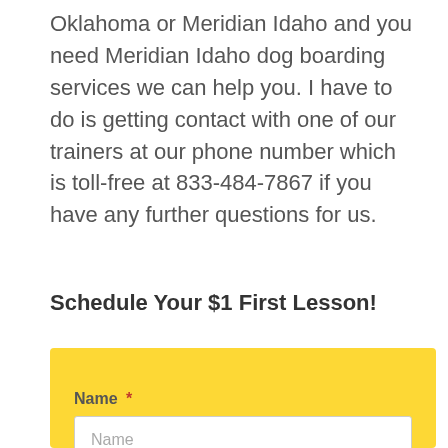Oklahoma or Meridian Idaho and you need Meridian Idaho dog boarding services we can help you. I have to do is getting contact with one of our trainers at our phone number which is toll-free at 833-484-7867 if you have any further questions for us.
Schedule Your $1 First Lesson!
Name * [Name input field] Phone *